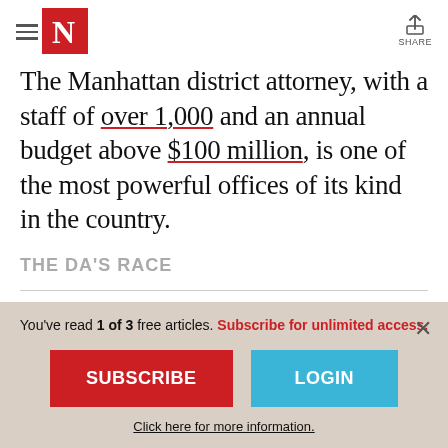The Nation — navigation header with hamburger menu, N logo, and share button
The Manhattan district attorney, with a staff of over 1,000 and an annual budget above $100 million, is one of the most powerful offices of its kind in the country.
THE DA'S RACE
MEET THE WOMAN WHO WOULD TRANSFORM THE NATION'S MOST POWERFUL DA'S OFFICE
You've read 1 of 3 free articles. Subscribe for unlimited access.
SUBSCRIBE
LOGIN
Click here for more information.